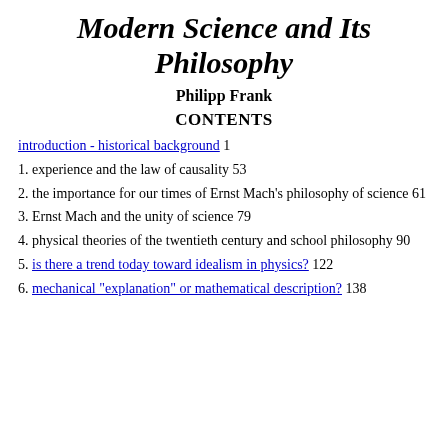Modern Science and Its Philosophy
Philipp Frank
CONTENTS
introduction - historical background 1
1. experience and the law of causality 53
2. the importance for our times of Ernst Mach's philosophy of science 61
3. Ernst Mach and the unity of science 79
4. physical theories of the twentieth century and school philosophy 90
5. is there a trend today toward idealism in physics? 122
6. mechanical "explanation" or mathematical description? 138